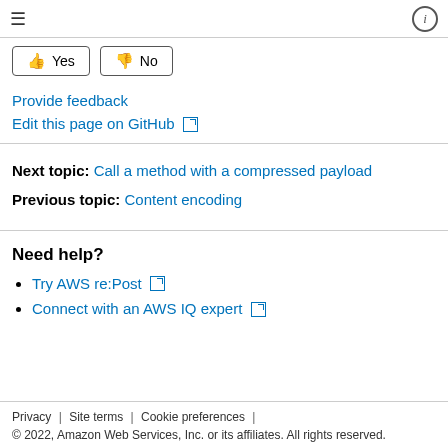≡ (menu) | ⓘ (info)
👍 Yes | 👎 No
Provide feedback
Edit this page on GitHub ↗
Next topic: Call a method with a compressed payload
Previous topic: Content encoding
Need help?
Try AWS re:Post ↗
Connect with an AWS IQ expert ↗
Privacy | Site terms | Cookie preferences | © 2022, Amazon Web Services, Inc. or its affiliates. All rights reserved.